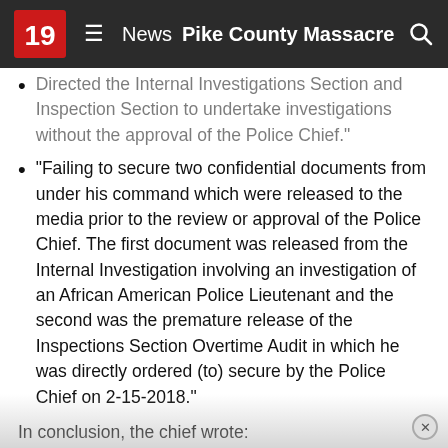News  Pike County Massacre
Directed the Internal Investigations Section and Inspection Section to undertake investigations without the approval of the Police Chief.
"Failing to secure two confidential documents from under his command which were released to the media prior to the review or approval of the Police Chief. The first document was released from the Internal Investigation involving an investigation of an African American Police Lieutenant and the second was the premature release of the Inspections Section Overtime Audit in which he was directly ordered (to) secure by the Police Chief on 2-15-2018."
In conclusion, the chief wrote:
"It is my belief that these recent events rise to the level of insubordination and has created a condition that must be mitigated to insure the effective operation of the Police